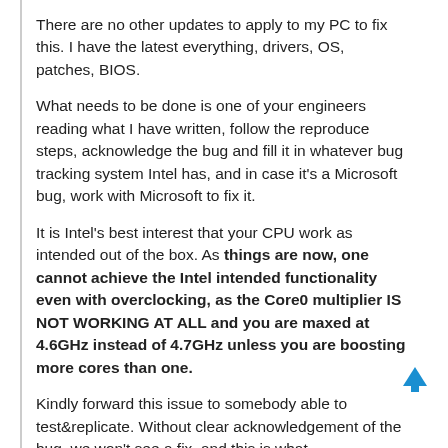There are no other updates to apply to my PC to fix this. I have the latest everything, drivers, OS, patches, BIOS.
What needs to be done is one of your engineers reading what I have written, follow the reproduce steps, acknowledge the bug and fill it in whatever bug tracking system Intel has, and in case it's a Microsoft bug, work with Microsoft to fix it.
It is Intel's best interest that your CPU work as intended out of the box. As things are now, one cannot achieve the Intel intended functionality even with overclocking, as the Core0 multiplier IS NOT WORKING AT ALL and you are maxed at 4.6GHz instead of 4.7GHz unless you are boosting more cores than one.
Kindly forward this issue to somebody able to test&replicate. Without clear acknowledgement of the bug, we won't see a fix, and this is what I want to avoid.